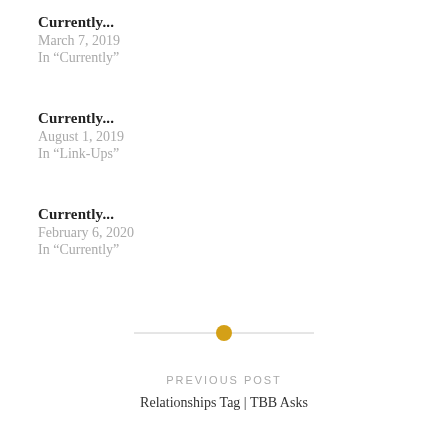Currently...
March 7, 2019
In "Currently"
Currently...
August 1, 2019
In "Link-Ups"
Currently...
February 6, 2020
In "Currently"
[Figure (other): Horizontal divider line with a gold/yellow circle in the center]
PREVIOUS POST
Relationships Tag | TBB Asks